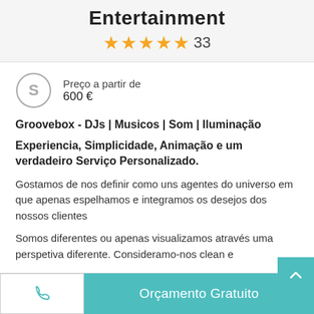Entertainment
★★★★★ 33
Preço a partir de
600 €
Groovebox - DJs | Musicos | Som | Iluminação
Experiencia, Simplicidade, Animação e um verdadeiro Serviço Personalizado.
Gostamos de nos definir como uns agentes do universo em que apenas espelhamos e integramos os desejos dos nossos clientes
Somos diferentes ou apenas visualizamos através uma perspetiva diferente. Consideramo-nos clean e
Orçamento Gratuito